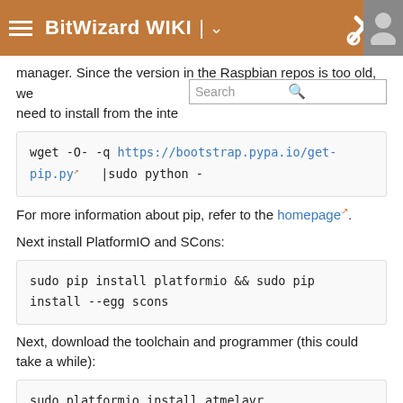BitWizard WIKI
manager. Since the version in the Raspbian repos is too old, we need to install from the inte
wget -O- -q https://bootstrap.pypa.io/get-pip.py  |sudo python -
For more information about pip, refer to the homepage.
Next install PlatformIO and SCons:
sudo pip install platformio && sudo pip install --egg scons
Next, download the toolchain and programmer (this could take a while):
sudo platformio install atmelavr
Your Raspberry Pi is ready to compile and program the